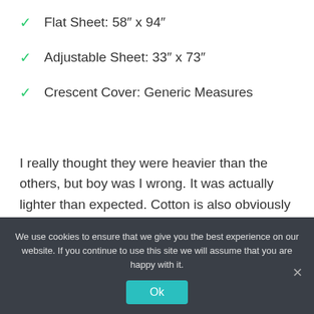Flat Sheet: 58″ x 94″
Adjustable Sheet: 33″ x 73″
Crescent Cover: Generic Measures
I really thought they were heavier than the others, but boy was I wrong. It was actually lighter than expected. Cotton is also obviously soft, but polyester is what gives character to the tables.
We use cookies to ensure that we give you the best experience on our website. If you continue to use this site we will assume that you are happy with it.